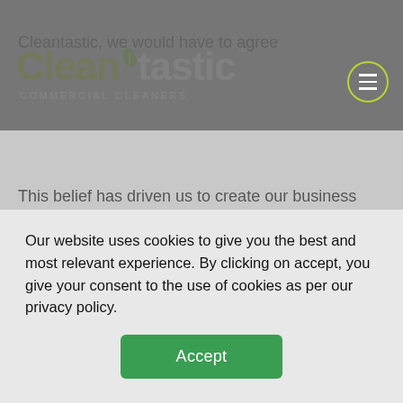Cleantastic COMMERCIAL CLEANERS
Cleantastic, we would have to agree
This belief has driven us to create our business where we offer commercial cleaning services across the whole of New Zealand through a team of dedicated owners/operators (franchisees).
So if you require a hard-working and professional cleaning team for your business (who doesn't?), you can count on us to deliver top-quality results at affordable prices every time!
You can contact us here to book your cleaning service and say hello to a clean business and increased sales!
Our website uses cookies to give you the best and most relevant experience. By clicking on accept, you give your consent to the use of cookies as per our privacy policy.